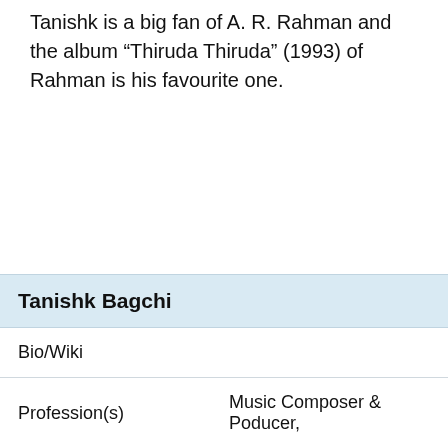Tanishk is a big fan of A. R. Rahman and the album “Thiruda Thiruda” (1993) of Rahman is his favourite one.
| Tanishk Bagchi |
| --- |
| Bio/Wiki |  |
| Profession(s) | Music Composer & Poducer, |